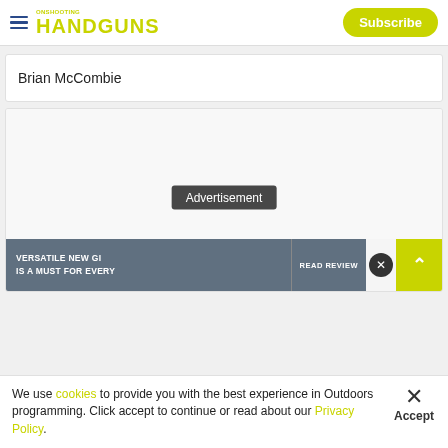HANDGUNS — Subscribe
Brian McCombie
[Figure (other): Large white placeholder image area with an advertisement banner at the bottom reading 'VERSATILE NEW GI IS A MUST FOR EVERY' with a READ REVIEW button and a scroll-to-top arrow button]
Advertisement
We use cookies to provide you with the best experience in Outdoors programming. Click accept to continue or read about our Privacy Policy.